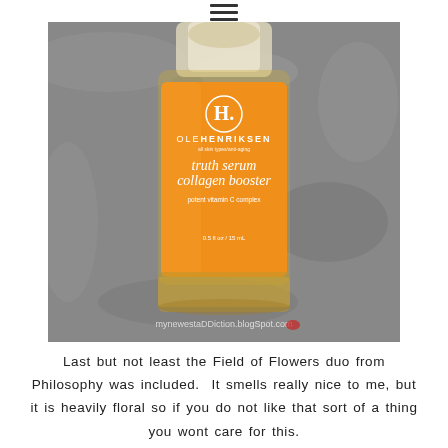[Figure (photo): Ole Henriksen Truth Serum Collagen Booster bottle with orange label, photographed on a dark marble/granite surface. The label shows the brand name OLEHENRIKSEN, product name 'truth serum collagen booster', tagline 'potent vitamin C complex', and volume '0.5 fl oz / 15 ml'. A watermark reads 'mynewestaddiction.blogspot.com'.]
Last but not least the Field of Flowers duo from Philosophy was included.  It smells really nice to me, but it is heavily floral so if you do not like that sort of a thing you wont care for this.